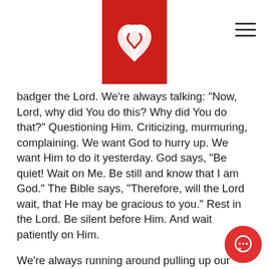[Figure (logo): Red square logo with white heart/ribbon design, centered at top of page]
badger the Lord. We’re always talking: “Now, Lord, why did You do this? Why did You do that?” Questioning Him. Criticizing, murmuring, complaining. We want God to hurry up. We want Him to do it yesterday. God says, “Be quiet! Wait on Me. Be still and know that I am God.” The Bible says, “Therefore, will the Lord wait, that He may be gracious to you.” Rest in the Lord. Be silent before Him. And wait patiently on Him.
We’re always running around pulling up our radishes by the roots to see how they’re growing and then cramming them back into the ground